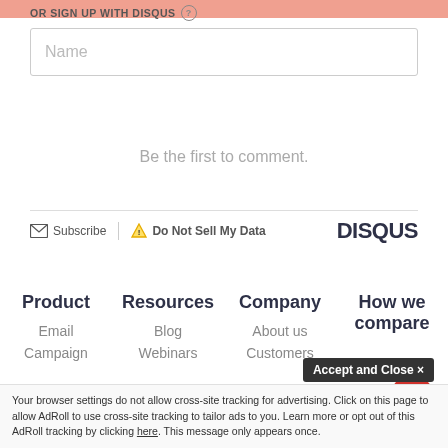OR SIGN UP WITH DISQUS (?)
Name
Be the first to comment.
Subscribe  Do Not Sell My Data  DISQUS
Product
Resources
Company
How we compare
Email
Blog
About us
Campaign
Webinars
Customers
Accept and Close ×
Your browser settings do not allow cross-site tracking for advertising. Click on this page to allow AdRoll to use cross-site tracking to tailor ads to you. Learn more or opt out of this AdRoll tracking by clicking here. This message only appears once.